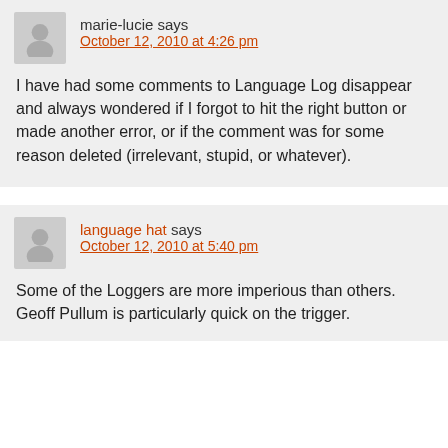marie-lucie says
October 12, 2010 at 4:26 pm
I have had some comments to Language Log disappear and always wondered if I forgot to hit the right button or made another error, or if the comment was for some reason deleted (irrelevant, stupid, or whatever).
language hat says
October 12, 2010 at 5:40 pm
Some of the Loggers are more imperious than others. Geoff Pullum is particularly quick on the trigger.